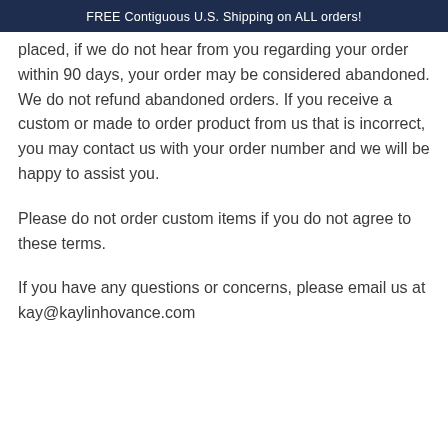FREE Contiguous U.S. Shipping on ALL orders!
placed, if we do not hear from you regarding your order within 90 days, your order may be considered abandoned. We do not refund abandoned orders. If you receive a custom or made to order product from us that is incorrect, you may contact us with your order number and we will be happy to assist you.
Please do not order custom items if you do not agree to these terms.
If you have any questions or concerns, please email us at kay@kaylinhovance.com